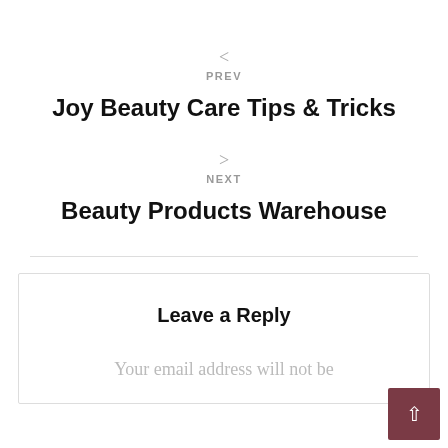<
PREV
Joy Beauty Care Tips & Tricks
>
NEXT
Beauty Products Warehouse
Leave a Reply
Your email address will not be